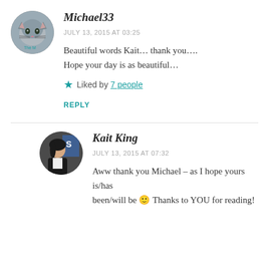Michael33
JULY 13, 2015 AT 03:25
Beautiful words Kait… thank you….
Hope your day is as beautiful…
★ Liked by 7 people
REPLY
Kait King
JULY 13, 2015 AT 07:32
Aww thank you Michael – as I hope yours is/has been/will be 🙂 Thanks to YOU for reading!